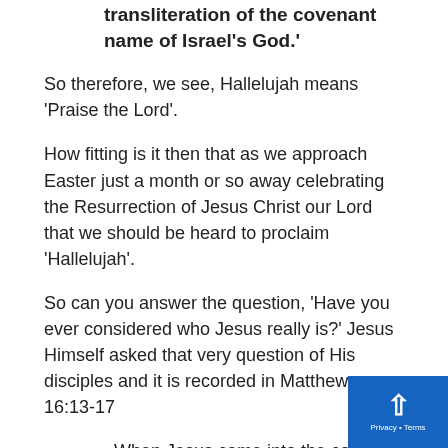transliteration of the covenant name of Israel's God.'
So therefore, we see, Hallelujah means 'Praise the Lord'.
How fitting is it then that as we approach Easter just a month or so away celebrating the Resurrection of Jesus Christ our Lord that we should be heard to proclaim 'Hallelujah'.
So can you answer the question, 'Have you ever considered who Jesus really is?' Jesus Himself asked that very question of His disciples and it is recorded in Matthew 16:13-17
When Jesus came into the coasts of Caesarea Philippi, he asked his disciples, saying, Who do men say that I the Son of man am?
And they said, some say that you are John the